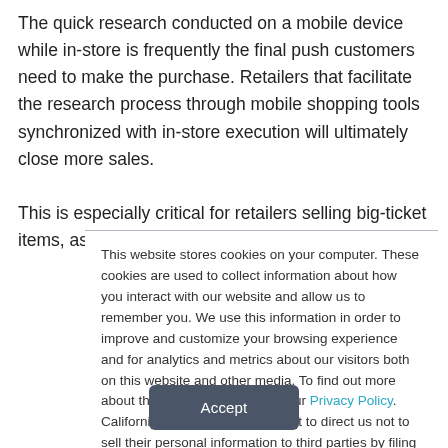The quick research conducted on a mobile device while in-store is frequently the final push customers need to make the purchase. Retailers that facilitate the research process through mobile shopping tools synchronized with in-store execution will ultimately close more sales.

This is especially critical for retailers selling big-ticket items, as
This website stores cookies on your computer. These cookies are used to collect information about how you interact with our website and allow us to remember you. We use this information in order to improve and customize your browsing experience and for analytics and metrics about our visitors both on this website and other media. To find out more about the cookies we use, see our Privacy Policy. California residents have the right to direct us not to sell their personal information to third parties by filing an Opt-Out Request: Do Not Sell My Personal Info.
Accept